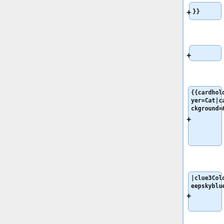}}
{{cardholder|player=Cat|cardBackground=#324
|clue3Colour=deepskyblue
|card1=5|card1Colour=red
|card2=2|card2Colour=red
|card3=2|card3Colour=deepskyblue
|card4=2|card4Colour=lightgre